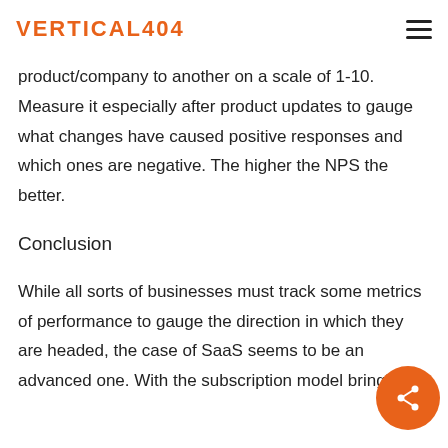VERTICAL404
product/company to another on a scale of 1-10. Measure it especially after product updates to gauge what changes have caused positive responses and which ones are negative. The higher the NPS the better.
Conclusion
While all sorts of businesses must track some metrics of performance to gauge the direction in which they are headed, the case of SaaS seems to be an advanced one. With the subscription model bringing